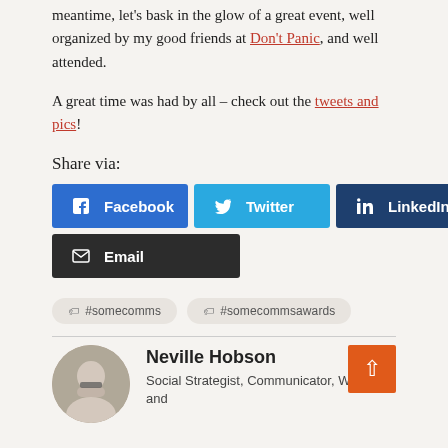meantime, let’s bask in the glow of a great event, well organized by my good friends at Don’t Panic, and well attended.
A great time was had by all – check out the tweets and pics!
Share via:
[Figure (infographic): Share buttons for Facebook, Twitter, LinkedIn, and Email]
#somecomms
#somecommsawards
Neville Hobson
Social Strategist, Communicator, Writer, and